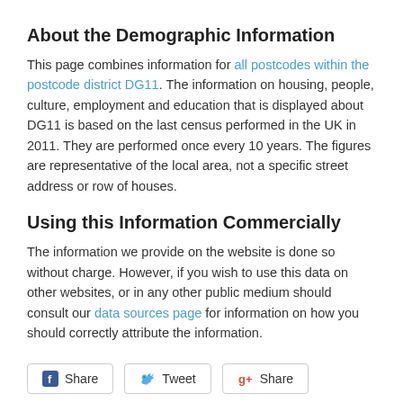About the Demographic Information
This page combines information for all postcodes within the postcode district DG11. The information on housing, people, culture, employment and education that is displayed about DG11 is based on the last census performed in the UK in 2011. They are performed once every 10 years. The figures are representative of the local area, not a specific street address or row of houses.
Using this Information Commercially
The information we provide on the website is done so without charge. However, if you wish to use this data on other websites, or in any other public medium should consult our data sources page for information on how you should correctly attribute the information.
[Figure (other): Social sharing buttons: Facebook Share, Twitter Tweet, Google+ Share]